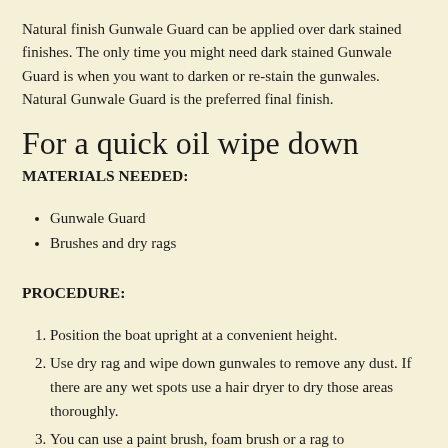Natural finish Gunwale Guard can be applied over dark stained finishes. The only time you might need dark stained Gunwale Guard is when you want to darken or re-stain the gunwales. Natural Gunwale Guard is the preferred final finish.
For a quick oil wipe down
MATERIALS NEEDED:
Gunwale Guard
Brushes and dry rags
PROCEDURE:
Position the boat upright at a convenient height.
Use dry rag and wipe down gunwales to remove any dust. If there are any wet spots use a hair dryer to dry those areas thoroughly.
You can use a paint brush, foam brush or a rag to